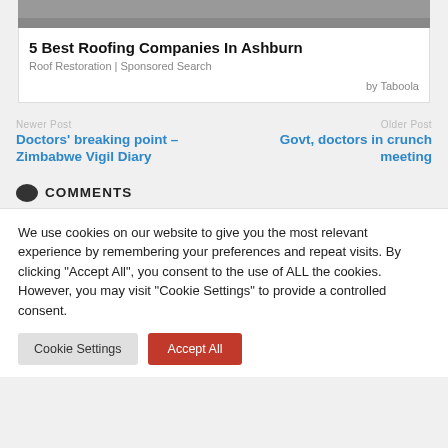[Figure (photo): Partial image of a roofing surface at top of card]
5 Best Roofing Companies In Ashburn
Roof Restoration | Sponsored Search
by Taboola
Newer Post
Doctors’ breaking point – Zimbabwe Vigil Diary
Older Post
Govt, doctors in crunch meeting
COMMENTS
We use cookies on our website to give you the most relevant experience by remembering your preferences and repeat visits. By clicking “Accept All”, you consent to the use of ALL the cookies. However, you may visit "Cookie Settings" to provide a controlled consent.
Cookie Settings
Accept All